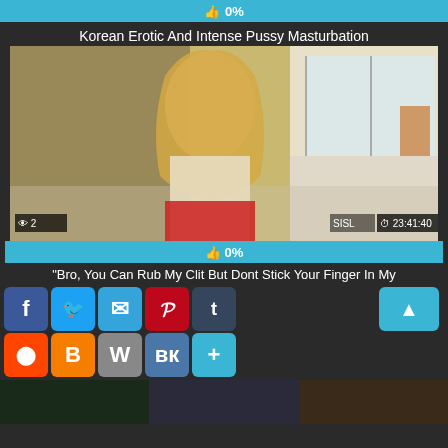[Figure (screenshot): Rating bar showing 0% with thumbs up icon, cyan/teal background]
Korean Erotic And Intense Pussy Masturbation
[Figure (photo): Video thumbnail showing a blonde woman in white top and red shorts sitting on a white couch. Views badge shows 2, duration badge shows 23:41:40, SISL watermark visible. Rating bar below shows 0%.]
"Bro, You Can Rub My Clit But Dont Stick Your Finger In My
[Figure (screenshot): Social share buttons row 1: Facebook (blue), Twitter (light blue), Email (blue), Pinterest (red), Tumblr (dark blue), and scroll-up button (cyan). Row 2: Reddit (orange-red), Blogger (orange), WordPress (gray), VK (blue), More (cyan). Bottom thumbnails strip.]